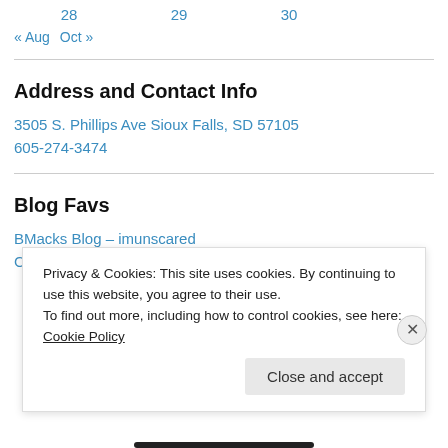28   29   30
« Aug   Oct »
Address and Contact Info
3505 S. Phillips Ave Sioux Falls, SD 57105
605-274-3474
Blog Favs
BMacks Blog – imunscared
Chris Mello – comfitness
Privacy & Cookies: This site uses cookies. By continuing to use this website, you agree to their use.
To find out more, including how to control cookies, see here: Cookie Policy
Close and accept